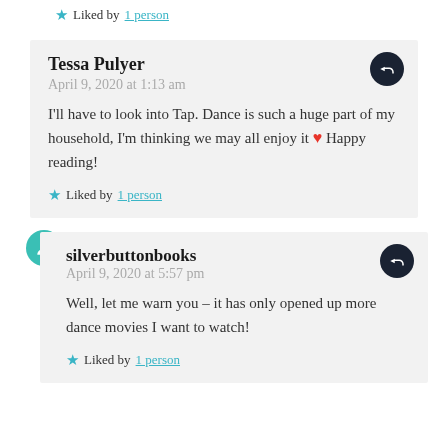Liked by 1 person
Tessa Pulyer
April 9, 2020 at 1:13 am
I'll have to look into Tap. Dance is such a huge part of my household, I'm thinking we may all enjoy it ❤ Happy reading!
Liked by 1 person
silverbuttonbooks
April 9, 2020 at 5:57 pm
Well, let me warn you – it has only opened up more dance movies I want to watch!
Liked by 1 person